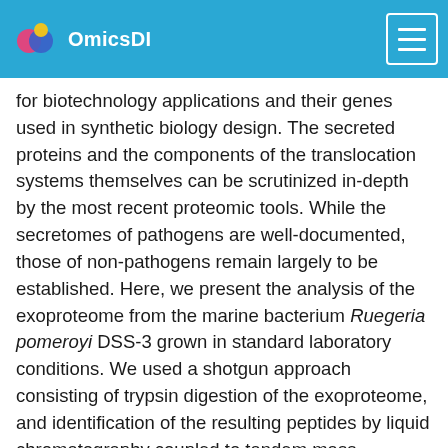OmicsDI
for biotechnology applications and their genes used in synthetic biology design. The secreted proteins and the components of the translocation systems themselves can be scrutinized in-depth by the most recent proteomic tools. While the secretomes of pathogens are well-documented, those of non-pathogens remain largely to be established. Here, we present the analysis of the exoproteome from the marine bacterium Ruegeria pomeroyi DSS-3 grown in standard laboratory conditions. We used a shotgun approach consisting of trypsin digestion of the exoproteome, and identification of the resulting peptides by liquid chromatography coupled to tandem mass spectrometry. Three different proteins that have domains homologous to those observed in RTX toxins were uncovered and were semi-quantified as the most abundantly secreted proteins. One of these proteins clearly stands out from the catalogue, representing over half of the total exoproteome. We also listed many soluble proteins related to ABC and TRAP transporters implied in the uptake of nutrients. The Ruegeria pomeroyi DSS-3 case-study illustrates the